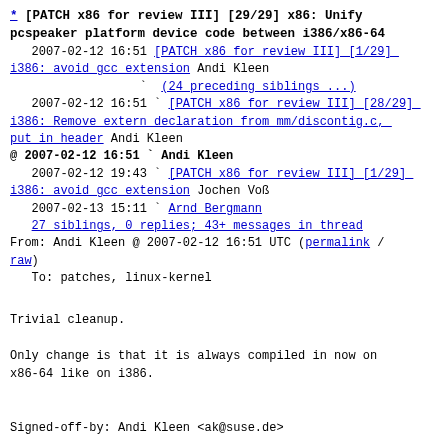* [PATCH x86 for review III] [29/29] x86: Unify pcspeaker platform device code between i386/x86-64
2007-02-12 16:51 [PATCH x86 for review III] [1/29] i386: avoid gcc extension Andi Kleen
                    ` (24 preceding siblings ...)
   2007-02-12 16:51 ` [PATCH x86 for review III] [28/29] i386: Remove extern declaration from mm/discontig.c, put in header Andi Kleen
@ 2007-02-12 16:51 ` Andi Kleen
   2007-02-12 19:43 ` [PATCH x86 for review III] [1/29] i386: avoid gcc extension Jochen Voß
   2007-02-13 15:11 ` Arnd Bergmann
   27 siblings, 0 replies; 43+ messages in thread
From: Andi Kleen @ 2007-02-12 16:51 UTC (permalink / raw)
   To: patches, linux-kernel
Trivial cleanup.

Only change is that it is always compiled in now on
x86-64 like on i386.


Signed-off-by: Andi Kleen <ak@suse.de>

---
 arch/i386/kernel/Makefile  |   1 +
 arch/i386/kernel/pcspeaker.c | 20
++++++++++++++++++++++